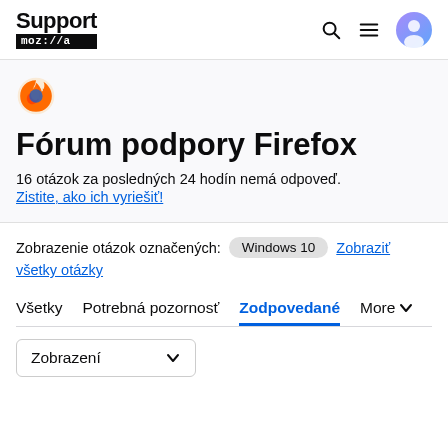Support mozilla///a
Fórum podpory Firefox
16 otázok za posledných 24 hodín nemá odpoveď.
Zistite, ako ich vyriešiť!
Zobrazenie otázok označených: Windows 10  Zobraziť všetky otázky
Všetky   Potrebná pozornosť   Zodpovedané   More
Zobrazení